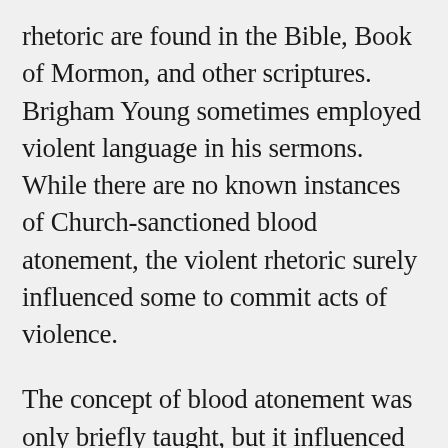rhetoric are found in the Bible, Book of Mormon, and other scriptures. Brigham Young sometimes employed violent language in his sermons. While there are no known instances of Church-sanctioned blood atonement, the violent rhetoric surely influenced some to commit acts of violence.
The concept of blood atonement was only briefly taught, but it influenced death penalty laws in Utah and left a legacy of questions related to why it was taught in the first place. It is unclear how blood atonement ideas can be reconciled with the central Latter-day Saint doctrine of the infinite atonement of Jesus Christ.
The Church denounces the teachings of blood